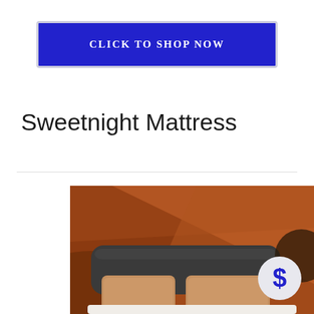CLICK TO SHOP NOW
Sweetnight Mattress
[Figure (photo): A bedroom scene showing a bed with a dark gray upholstered headboard, two light brown/tan pillows, and white bedding against a warm brown/orange curved abstract background. A blue dollar sign badge appears in the lower right corner.]